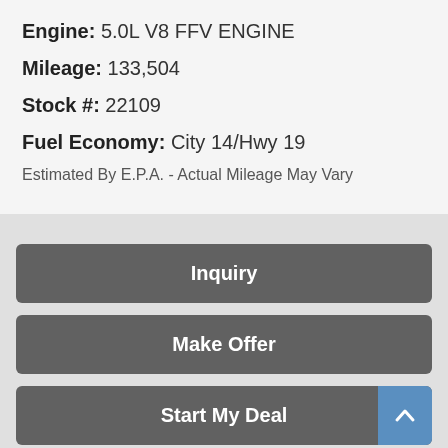Engine: 5.0L V8 FFV ENGINE
Mileage: 133,504
Stock #: 22109
Fuel Economy: City 14/Hwy 19
Estimated By E.P.A. - Actual Mileage May Vary
Inquiry
Make Offer
Start My Deal
Text Us